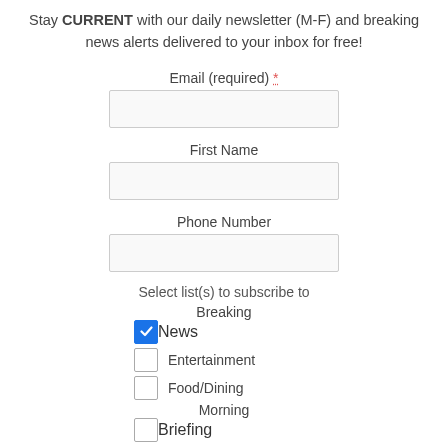Stay CURRENT with our daily newsletter (M-F) and breaking news alerts delivered to your inbox for free!
Email (required) *
First Name
Phone Number
Select list(s) to subscribe to
Breaking News [checked]
Entertainment
Food/Dining
Morning Briefing